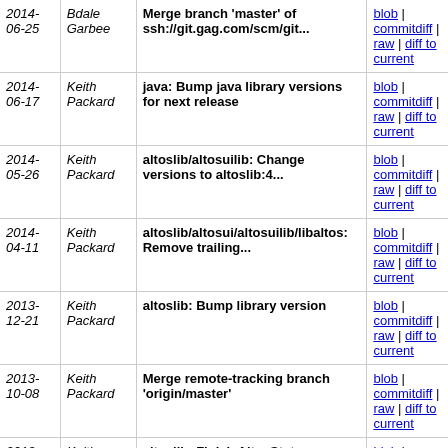| Date | Author | Commit message | Links |
| --- | --- | --- | --- |
| 2014-06-25 | Bdale Garbee | Merge branch 'master' of ssh://git.gag.com/scm/git... | blob | commitdiff | raw | diff to current |
| 2014-06-17 | Keith Packard | java: Bump java library versions for next release | blob | commitdiff | raw | diff to current |
| 2014-05-26 | Keith Packard | altoslib/altosuilib: Change versions to altoslib:4... | blob | commitdiff | raw | diff to current |
| 2014-04-11 | Keith Packard | altoslib/altosui/altosuilib/libaltos: Remove trailing... | blob | commitdiff | raw | diff to current |
| 2013-12-21 | Keith Packard | altoslib: Bump library version | blob | commitdiff | raw | diff to current |
| 2013-10-08 | Keith Packard | Merge remote-tracking branch 'origin/master' | blob | commitdiff | raw | diff to current |
| 2013-09-05 | Keith Packard | altoslib: Finish AltosState changes. Update version... | blob | commitdiff | raw | diff to current |
| 2013-05-10 | Keith Packard | Merge branch 'master-fixes' into stm-flash-fixes | blob | commitdiff | raw | diff to current |
| 2013-05-10 | Keith Packard | altoslib: Add non-persistent 'last logdir' preference | blob | commitdiff | raw | diff to current |
| 2013-02-24 | Keith Packard | Merge branch 'telescience-v0.2' | blob | commitdiff | raw | diff to current |
| 2013- | Keith | Merge remote-tracking branch | blob | |